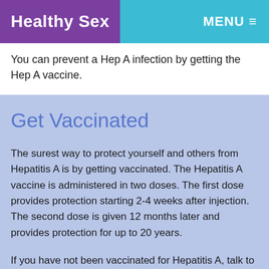Healthy Sex   MENU
You can prevent a Hep A infection by getting the Hep A vaccine.
Get Vaccinated
The surest way to protect yourself and others from Hepatitis A is by getting vaccinated. The Hepatitis A vaccine is administered in two doses. The first dose provides protection starting 2-4 weeks after injection. The second dose is given 12 months later and provides protection for up to 20 years.
If you have not been vaccinated for Hepatitis A, talk to your GP.